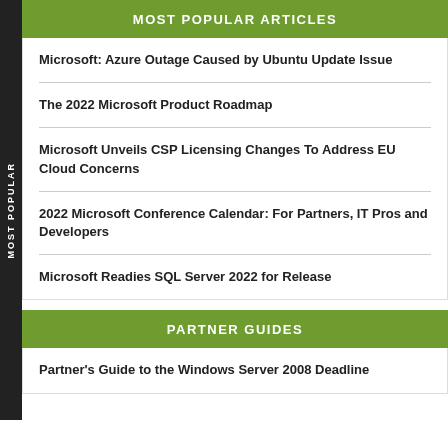MOST POPULAR ARTICLES
Microsoft: Azure Outage Caused by Ubuntu Update Issue
The 2022 Microsoft Product Roadmap
Microsoft Unveils CSP Licensing Changes To Address EU Cloud Concerns
2022 Microsoft Conference Calendar: For Partners, IT Pros and Developers
Microsoft Readies SQL Server 2022 for Release
PARTNER GUIDES
Partner's Guide to the Windows Server 2008 Deadline